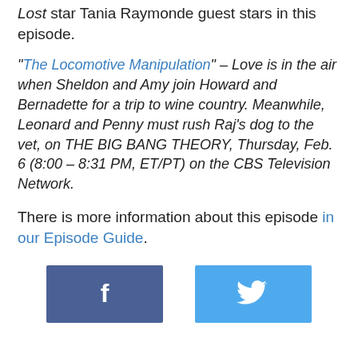Lost star Tania Raymonde guest stars in this episode.
"The Locomotive Manipulation" – Love is in the air when Sheldon and Amy join Howard and Bernadette for a trip to wine country. Meanwhile, Leonard and Penny must rush Raj's dog to the vet, on THE BIG BANG THEORY, Thursday, Feb. 6 (8:00 – 8:31 PM, ET/PT) on the CBS Television Network.
There is more information about this episode in our Episode Guide.
[Figure (other): Facebook and Twitter social sharing buttons]